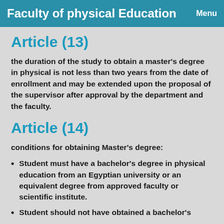Faculty of physical Education  Menu
Article (13)
the duration of the study to obtain a master's degree in physical is not less than two years from the date of enrollment and may be extended upon the proposal of the supervisor after approval by the department and the faculty.
Article (14)
conditions for obtaining Master's degree:
Student must have a bachelor's degree in physical education from an Egyptian university or an equivalent degree from approved faculty or scientific institute.
Student should not have obtained a bachelor's